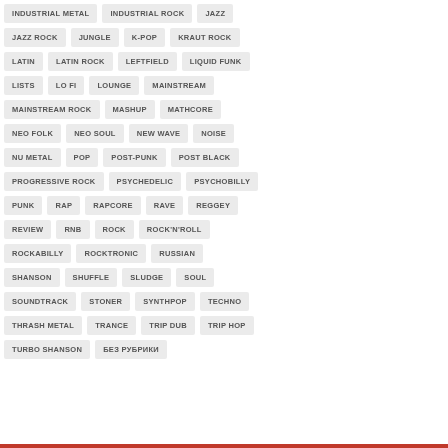INDUSTRIAL METAL
INDUSTRIAL ROCK
JAZZ
JAZZ ROCK
JUNGLE
K-POP
KRAUT ROCK
LATIN
LATIN ROCK
LEFTFIELD
LIQUID FUNK
LISTS
LO FI
LOUNGE
MAINSTREAM
MAINSTREAM ROCK
MASHUP
MATHCORE
NEO FOLK
NEO SOUL
NEW WAVE
NOISE
NU METAL
POP
POST-PUNK
POST BLACK
PROGRESSIVE ROCK
PSYCHEDELIC
PSYCHOBILLY
PUNK
RAP
RAPCORE
RAVE
REGGEY
REVIEW
RNB
ROCK
ROCK'N'ROLL
ROCKABILLY
ROCKTRONIC
RUSSIAN
SHANSON
SHUFFLE
SLUDGE
SOUL
SOUNDTRACK
STONER
SYNTHPOP
TECHNO
THRASH METAL
TRANCE
TRIP DUB
TRIP HOP
TURBO SHANSON
БЕЗ РУБРИКИ